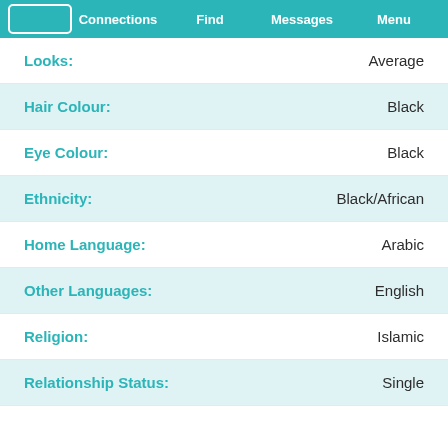Connections | Find | Messages | Menu
| Field | Value |
| --- | --- |
| Looks: | Average |
| Hair Colour: | Black |
| Eye Colour: | Black |
| Ethnicity: | Black/African |
| Home Language: | Arabic |
| Other Languages: | English |
| Religion: | Islamic |
| Relationship Status: | Single |